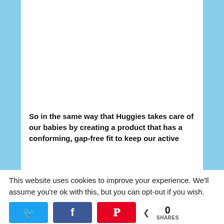[Figure (photo): Close-up photo of a baby's chubby legs standing on a pink/white surface, wearing a diaper, with a pink-toned background.]
So in the same way that Huggies takes care of our babies by creating a product that has a conforming, gap-free fit to keep our active
This website uses cookies to improve your experience. We'll assume you're ok with this, but you can opt-out if you wish.
0 SHARES